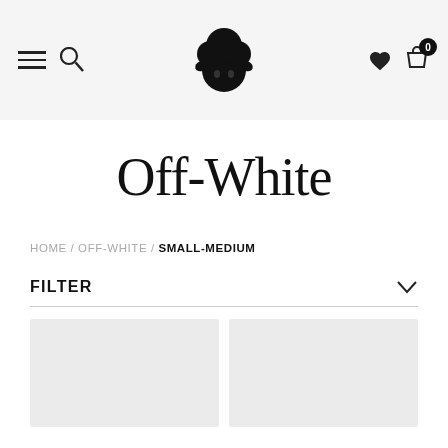Navigation header with hamburger menu, search icon, sheep/lamb logo, heart icon, and shopping bag with badge 0
Off-White
HOME / OFF-WHITE / SMALL-MEDIUM
FILTER
[Figure (other): Two product image placeholder cards in a two-column grid layout, light grey background]